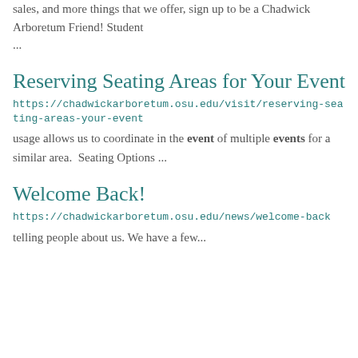sales, and more things that we offer, sign up to be a Chadwick Arboretum Friend! Student ...
Reserving Seating Areas for Your Event
https://chadwickarboretum.osu.edu/visit/reserving-seating-areas-your-event
usage allows us to coordinate in the event of multiple events for a similar area.  Seating Options ...
Welcome Back!
https://chadwickarboretum.osu.edu/news/welcome-back
telling people about us. We have a few...